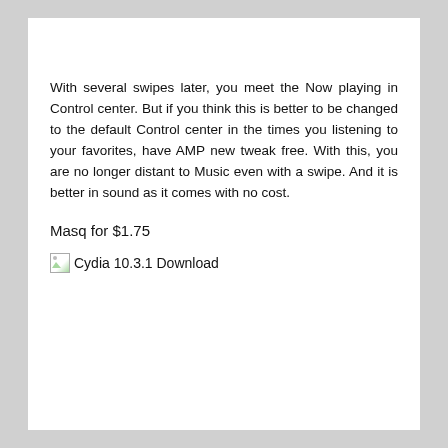With several swipes later, you meet the Now playing in Control center. But if you think this is better to be changed to the default Control center in the times you listening to your favorites, have AMP new tweak free. With this, you are no longer distant to Music even with a swipe. And it is better in sound as it comes with no cost.
Masq for $1.75
[Figure (other): Broken image placeholder icon followed by text 'Cydia 10.3.1 Download']